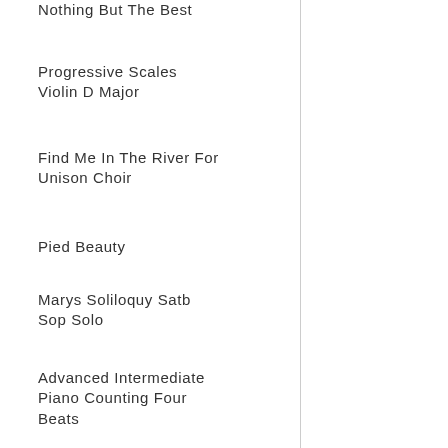Nothing But The Best
Progressive Scales Violin D Major
Find Me In The River For Unison Choir
Pied Beauty
Marys Soliloquy Satb Sop Solo
Advanced Intermediate Piano Counting Four Beats
Lifes Most Powerful Cliche
Havana Clarinet